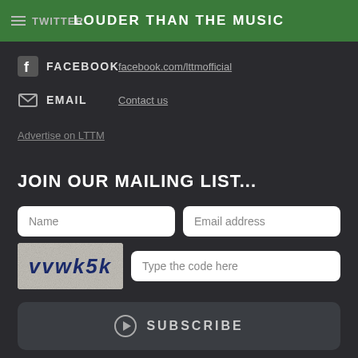TWITTER | LOUDER THAN THE MUSIC
FACEBOOK  facebook.com/lttmofficial
EMAIL  Contact us
Advertise on LTTM
JOIN OUR MAILING LIST...
Name | Email address | vvwk5k | Type the code here
SUBSCRIBE